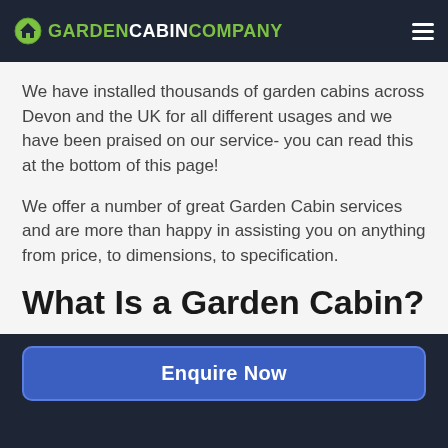GARDEN CABIN COMPANY
We have installed thousands of garden cabins across Devon and the UK for all different usages and we have been praised on our service- you can read this at the bottom of this page!
We offer a number of great Garden Cabin services and are more than happy in assisting you on anything from price, to dimensions, to specification.
What Is a Garden Cabin?
Enquire Now